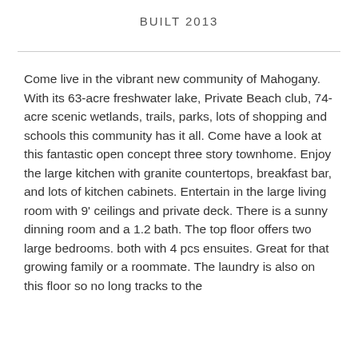BUILT 2013
Come live in the vibrant new community of Mahogany. With its 63-acre freshwater lake, Private Beach club, 74-acre scenic wetlands, trails, parks, lots of shopping and schools this community has it all. Come have a look at this fantastic open concept three story townhome. Enjoy the large kitchen with granite countertops, breakfast bar, and lots of kitchen cabinets. Entertain in the large living room with 9' ceilings and private deck. There is a sunny dinning room and a 1.2 bath. The top floor offers two large bedrooms. both with 4 pcs ensuites. Great for that growing family or a roommate. The laundry is also on this floor so no long tracks to the